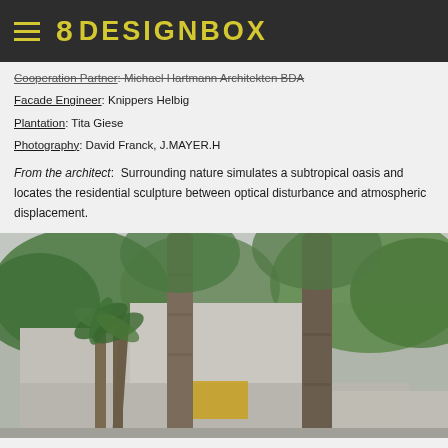8 DESIGNBOX
Cooperation Partner: Michael Hartmann Architekten BDA
Facade Engineer: Knippers Helbig
Plantation: Tita Giese
Photography: David Franck, J.MAYER.H
From the architect:  Surrounding nature simulates a subtropical oasis and locates the residential sculpture between optical disturbance and atmospheric displacement.
[Figure (photo): Exterior view of a modernist concrete residential building surrounded by tall trees including palms and large deciduous trees, with lush green foliage. The building features geometric concrete volumes with a yellow-lit window visible. Overcast natural light.]